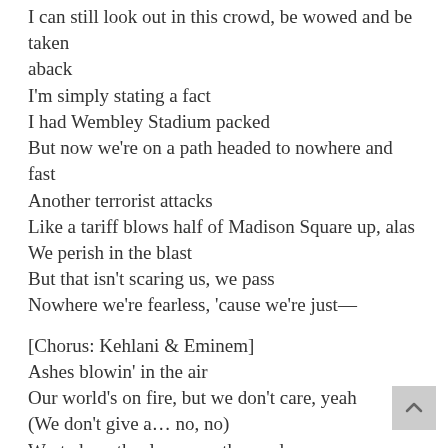I can still look out in this crowd, be wowed and be taken aback
I'm simply stating a fact
I had Wembley Stadium packed
But now we're on a path headed to nowhere and fast
Another terrorist attacks
Like a tariff blows half of Madison Square up, alas
We perish in the blast
But that isn't scaring us, we pass
Nowhere we're fearless, 'cause we're just—
[Chorus: Kehlani & Eminem]
Ashes blowin' in the air
Our world's on fire, but we don't care, yeah
(We don't give a… no, no)
Wasted youth, always on the road
Never lookin' back and we're never gettin' old
The skies are black, but our heart's made of gold